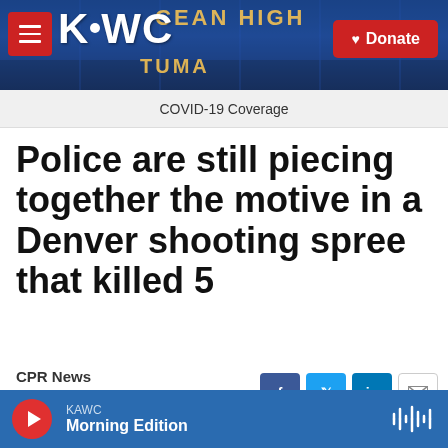[Figure (screenshot): KAWC radio station website header with logo, hamburger menu, stadium background image, and red Donate button]
COVID-19 Coverage
Police are still piecing together the motive in a Denver shooting spree that killed 5
CPR News
Published December 21, 2021 at 3:05 AM MST
[Figure (screenshot): Bottom audio player bar showing KAWC Morning Edition with red play button and audio wave icon]